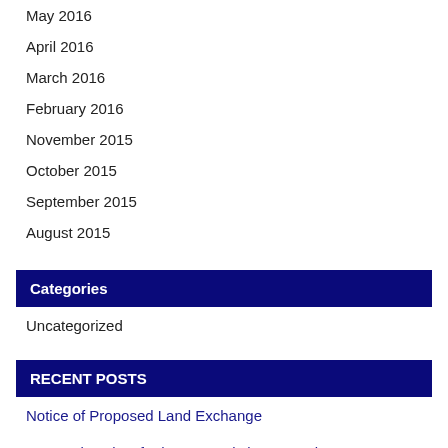May 2016
April 2016
March 2016
February 2016
November 2015
October 2015
September 2015
August 2015
Categories
Uncategorized
RECENT POSTS
Notice of Proposed Land Exchange
DPL to draw lots for homesteads by November
Public Notice for the Proposed Changes to AGP Fee